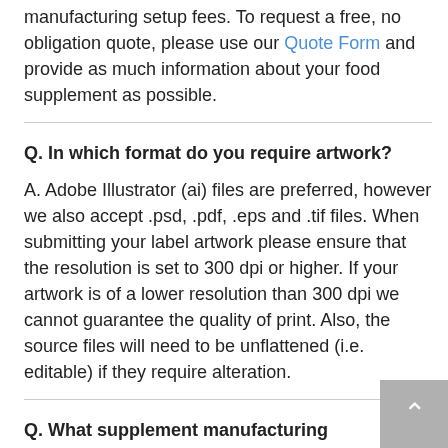manufacturing setup fees. To request a free, no obligation quote, please use our Quote Form and provide as much information about your food supplement as possible.
Q. In which format do you require artwork?
A. Adobe Illustrator (ai) files are preferred, however we also accept .psd, .pdf, .eps and .tif files. When submitting your label artwork please ensure that the resolution is set to 300 dpi or higher. If your artwork is of a lower resolution than 300 dpi we cannot guarantee the quality of print. Also, the source files will need to be unflattened (i.e. editable) if they require alteration.
Q. What supplement manufacturing certifications do you have?
A. All of our food supplements are manufactured in a GMP-certified facility which has been approved by MHRA. To request a quote, please use our Quote Form.